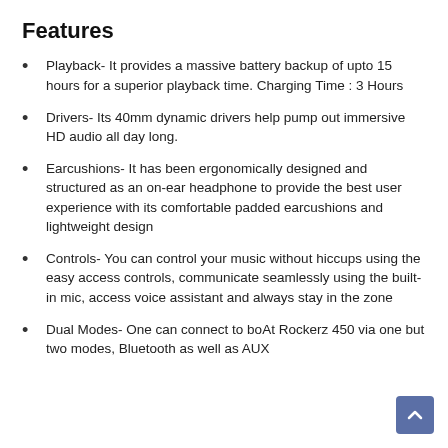Features
Playback- It provides a massive battery backup of upto 15 hours for a superior playback time. Charging Time : 3 Hours
Drivers- Its 40mm dynamic drivers help pump out immersive HD audio all day long.
Earcushions- It has been ergonomically designed and structured as an on-ear headphone to provide the best user experience with its comfortable padded earcushions and lightweight design
Controls- You can control your music without hiccups using the easy access controls, communicate seamlessly using the built-in mic, access voice assistant and always stay in the zone
Dual Modes- One can connect to boAt Rockerz 450 via one but two modes, Bluetooth as well as AUX